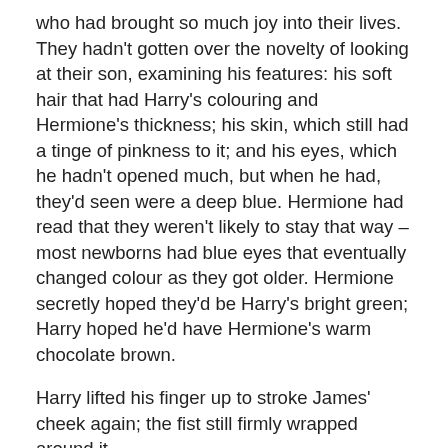who had brought so much joy into their lives. They hadn't gotten over the novelty of looking at their son, examining his features: his soft hair that had Harry's colouring and Hermione's thickness; his skin, which still had a tinge of pinkness to it; and his eyes, which he hadn't opened much, but when he had, they'd seen were a deep blue. Hermione had read that they weren't likely to stay that way – most newborns had blue eyes that eventually changed colour as they got older. Hermione secretly hoped they'd be Harry's bright green; Harry hoped he'd have Hermione's warm chocolate brown.
Harry lifted his finger up to stroke James' cheek again; the fist still firmly wrapped around it.
"You're right. He is beautiful," Harry agreed. "Just like his mother," he repeated.
Hermione looked back up at her husband again and beamed. "I love you, Harry," she said, gently running the